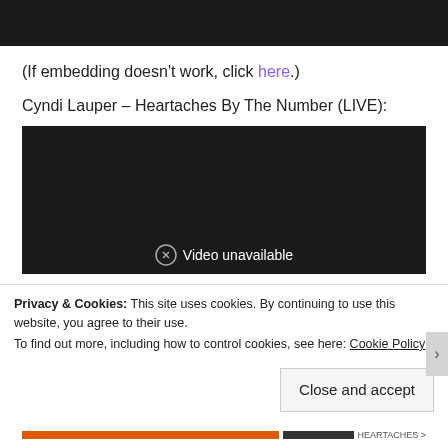[Figure (screenshot): Black video embed area at top of page]
(If embedding doesn’t work, click here.)
Cyndi Lauper – Heartaches By The Number (LIVE):
[Figure (screenshot): Embedded video player showing 'Video unavailable' message on dark background]
Privacy & Cookies: This site uses cookies. By continuing to use this website, you agree to their use.
To find out more, including how to control cookies, see here: Cookie Policy